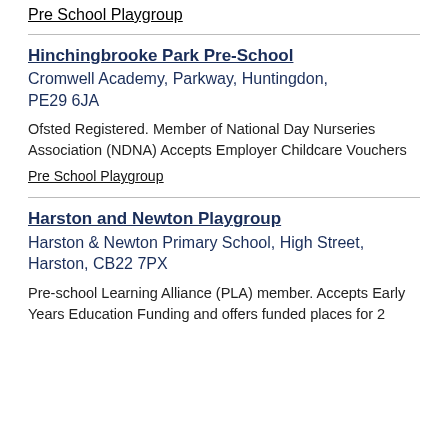Pre School Playgroup
Hinchingbrooke Park Pre-School
Cromwell Academy, Parkway, Huntingdon, PE29 6JA
Ofsted Registered. Member of National Day Nurseries Association (NDNA) Accepts Employer Childcare Vouchers
Pre School Playgroup
Harston and Newton Playgroup
Harston & Newton Primary School, High Street, Harston, CB22 7PX
Pre-school Learning Alliance (PLA) member. Accepts Early Years Education Funding and offers funded places for 2